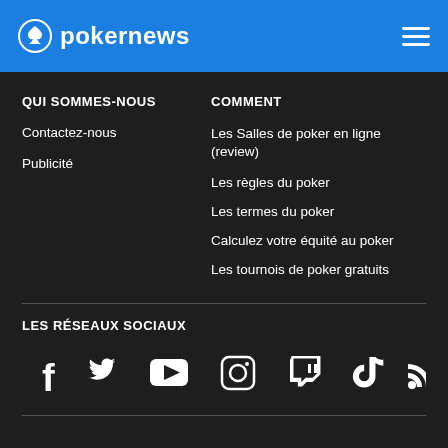pokernews
QUI SOMMES-NOUS
Contactez-nous
Publicité
COMMENT
Les Salles de poker en ligne (review)
Les règles du poker
Les termes du poker
Calculez votre équité au poker
Les tournois de poker gratuits
LES RÉSEAUX SOCIAUX
[Figure (other): Social media icons: Facebook, Twitter, YouTube, Instagram, Twitch, TikTok, RSS]